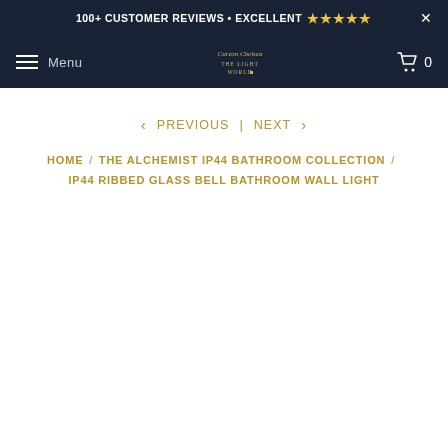100+ CUSTOMER REVIEWS • EXCELLENT ★★★★★
Menu [logo] 0
< PREVIOUS | NEXT >
HOME / THE ALCHEMIST IP44 BATHROOM COLLECTION / IP44 RIBBED GLASS BELL BATHROOM WALL LIGHT